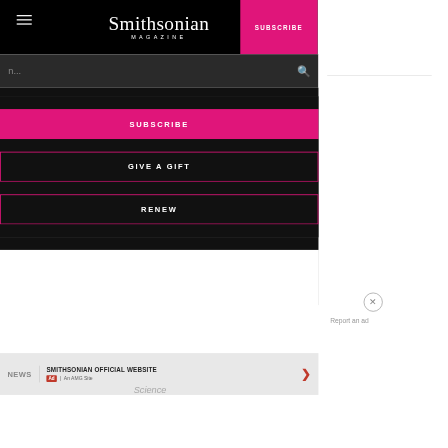Smithsonian MAGAZINE
SUBSCRIBE
n...
SUBSCRIBE
GIVE A GIFT
RENEW
NEWS
SMITHSONIAN OFFICIAL WEBSITE
Ad  |  An AMG Site
Science
Report an ad